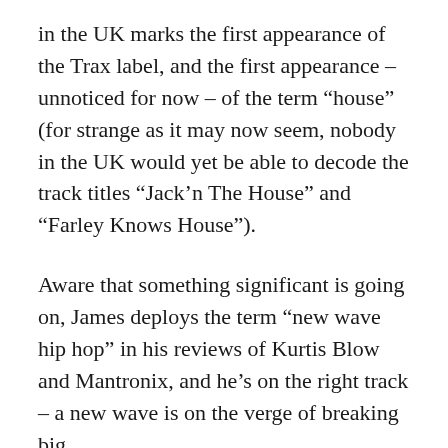in the UK marks the first appearance of the Trax label, and the first appearance – unnoticed for now – of the term “house” (for strange as it may now seem, nobody in the UK would yet be able to decode the track titles “Jack’n The House” and “Farley Knows House”).
Aware that something significant is going on, James deploys the term “new wave hip hop” in his reviews of Kurtis Blow and Mantronix, and he’s on the right track – a new wave is on the verge of breaking big.
Elsewhere, James’s protracted championing of Alexander O’Neal’s “What’s Missing” keeps